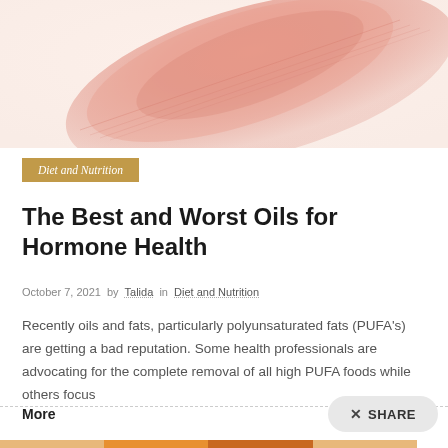[Figure (illustration): Top hero image area showing a feather or brushstroke in peach/salmon tones on a light background, with watermark text WWW.HAZELANDCACAO.COM at the top]
Diet and Nutrition
The Best and Worst Oils for Hormone Health
October 7, 2021  by  Talida  in  Diet and Nutrition
Recently oils and fats, particularly polyunsaturated fats (PUFA's) are getting a bad reputation. Some health professionals are advocating for the complete removal of all high PUFA foods while others focus
More
SHARE